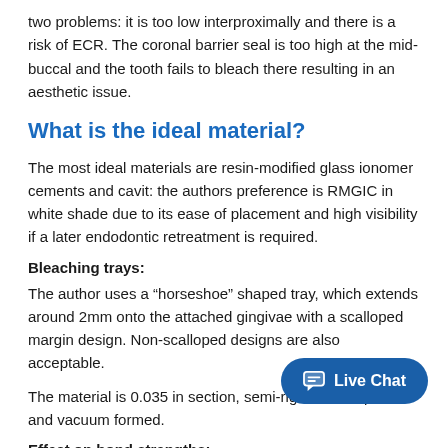two problems: it is too low interproximally and there is a risk of ECR. The coronal barrier seal is too high at the mid-buccal and the tooth fails to bleach there resulting in an aesthetic issue.
What is the ideal material?
The most ideal materials are resin-modified glass ionomer cements and cavit: the authors preference is RMGIC in white shade due to its ease of placement and high visibility if a later endodontic retreatment is required.
Bleaching trays:
The author uses a “horseshoe” shaped tray, which extends around 2mm onto the attached gingivae with a scalloped margin design. Non-scalloped designs are also acceptable.
The material is 0.035 in section, semi-rigid, thermoplastic and vacuum formed.
Effect on bond strengths:
Cvitko et al (1991) demonstrated that after bleaching, a reduction in bond strengths of composite resin of between